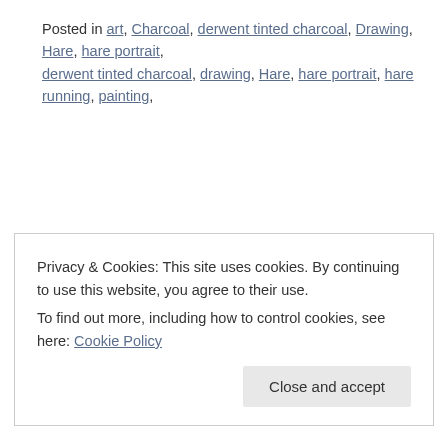Posted in art, Charcoal, derwent tinted charcoal, Drawing, Hare, hare portrait, derwent tinted charcoal, drawing, Hare, hare portrait, hare running, painting,
Privacy & Cookies: This site uses cookies. By continuing to use this website, you agree to their use. To find out more, including how to control cookies, see here: Cookie Policy